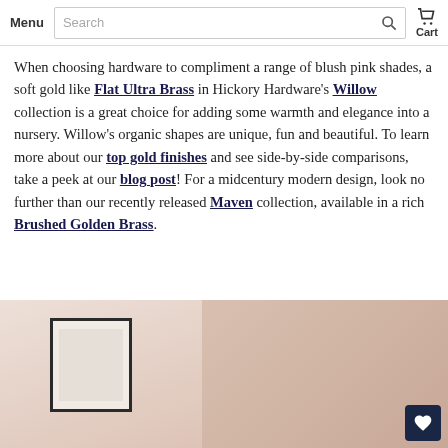Menu | Search | Cart
When choosing hardware to compliment a range of blush pink shades, a soft gold like Flat Ultra Brass in Hickory Hardware's Willow collection is a great choice for adding some warmth and elegance into a nursery. Willow's organic shapes are unique, fun and beautiful. To learn more about our top gold finishes and see side-by-side comparisons, take a peek at our blog post! For a midcentury modern design, look no further than our recently released Maven collection, available in a rich Brushed Golden Brass.
[Figure (photo): Room interior with blush pink walls and a framed artwork, soft warm tones]